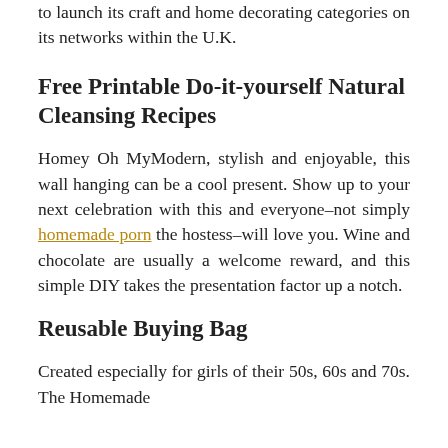to launch its craft and home decorating categories on its networks within the U.K.
Free Printable Do-it-yourself Natural Cleansing Recipes
Homey Oh MyModern, stylish and enjoyable, this wall hanging can be a cool present. Show up to your next celebration with this and everyone–not simply homemade porn the hostess–will love you. Wine and chocolate are usually a welcome reward, and this simple DIY takes the presentation factor up a notch.
Reusable Buying Bag
Created especially for girls of their 50s, 60s and 70s. The Homemade